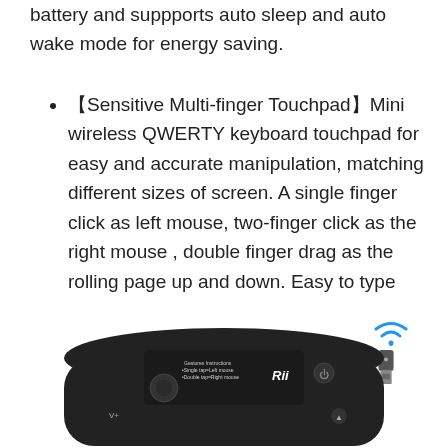battery and suppports auto sleep and auto wake mode for energy saving.
【Sensitive Multi-finger Touchpad】Mini wireless QWERTY keyboard touchpad for easy and accurate manipulation, matching different sizes of screen. A single finger click as left mouse, two-finger click as the right mouse , double finger drag as the rolling page up and down. Easy to type and copy / paste, making it faster and more convenient for you to move to choose what you want.
[Figure (photo): Photo of a Rii mini wireless keyboard/touchpad device (black, rounded rectangular controller with touchpad and buttons) shown with a small USB wireless dongle above it and a WiFi signal icon.]